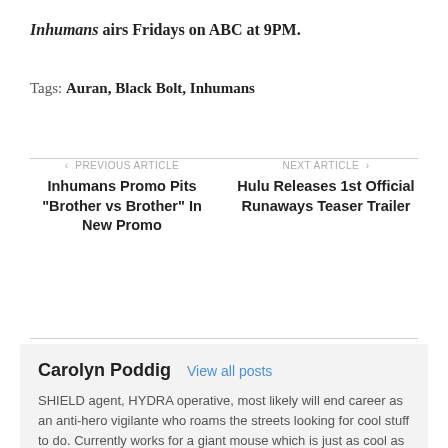Inhumans airs Fridays on ABC at 9PM.
Tags: Auran, Black Bolt, Inhumans
< PREVIOUS ARTICLE
Inhumans Promo Pits “Brother vs Brother” In New Promo
NEXT ARTICLE >
Hulu Releases 1st Official Runaways Teaser Trailer
Carolyn Poddig  View all posts
SHIELD agent, HYDRA operative, most likely will end career as an anti-hero vigilante who roams the streets looking for cool stuff to do. Currently works for a giant mouse which is just as cool as it sounds.